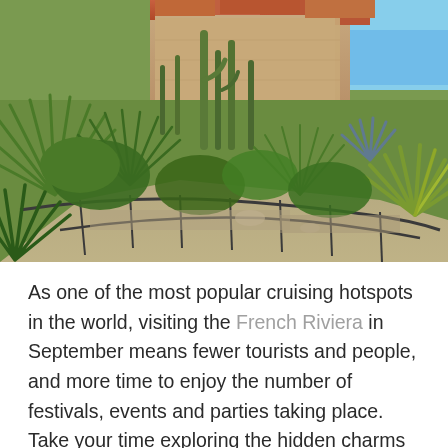[Figure (photo): Aerial view of a Mediterranean cliff-side garden with cacti, palm-like plants, agave, and exotic succulents. Stone paths with iron railings wind through the terraced garden. Red-roofed buildings and a glimpse of blue sea in the background. Likely the Exotic Garden of Èze or Monaco.]
As one of the most popular cruising hotspots in the world, visiting the French Riviera in September means fewer tourists and people, and more time to enjoy the number of festivals, events and parties taking place. Take your time exploring the hidden charms of Cannes, the magical city of Monaco or historic heritage in Nice in summer. Recommended...